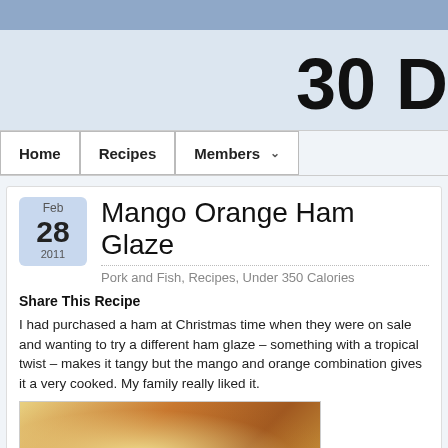30 D
Home   Recipes   Members
Mango Orange Ham Glaze
Pork and Fish, Recipes, Under 350 Calories
Share This Recipe
I had purchased a ham at Christmas time when they were on sale and wanting to try a different ham glaze – something with a tropical twist – makes it tangy but the mango and orange combination gives it a very cooked. My family really liked it.
[Figure (photo): Photo of cooked ham with mango orange glaze on a plate]